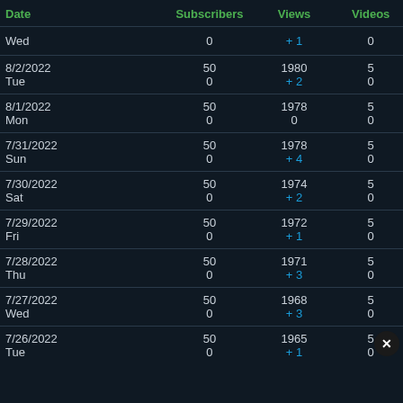| Date | Subscribers | Views | Videos |
| --- | --- | --- | --- |
| Wed | 0 | +1 | 0 |
| 8/2/2022
Tue | 50
0 | 1980
+2 | 5
0 |
| 8/1/2022
Mon | 50
0 | 1978
0 | 5
0 |
| 7/31/2022
Sun | 50
0 | 1978
+4 | 5
0 |
| 7/30/2022
Sat | 50
0 | 1974
+2 | 5
0 |
| 7/29/2022
Fri | 50
0 | 1972
+1 | 5
0 |
| 7/28/2022
Thu | 50
0 | 1971
+3 | 5
0 |
| 7/27/2022
Wed | 50
0 | 1968
+3 | 5
0 |
| 7/26/2022
Tue | 50
0 | 1965
+1 | 5
0 |